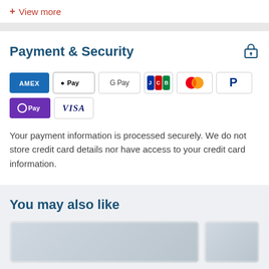+ View more
Payment & Security
[Figure (infographic): Payment method icons: AMEX, Apple Pay, Google Pay, JCB, Mastercard, PayPal, OPay, VISA]
Your payment information is processed securely. We do not store credit card details nor have access to your credit card information.
You may also like
[Figure (photo): Blurred product card images]